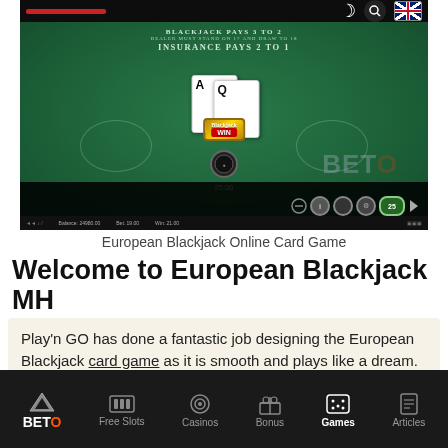[Figure (screenshot): European Blackjack MH online card game screenshot showing a green casino table with cards (Ace and Queen), a win badge, a chip showing 25.00, and game controls at the bottom. Text on table reads 'BLACKJACK PAYS 3 TO 2, DEALER MUST STAND ON 17 AND DRAW TO 18, INSURANCE PAYS 2 TO 1'.]
European Blackjack Online Card Game
Welcome to European Blackjack MH
Play'n GO has done a fantastic job designing the European Blackjack card game as it is smooth and plays like a dream. The green coloured table and the professional setup of cards and casino chips give this
BETO  Free Slots  Casinos  Bonus  Games  Articles